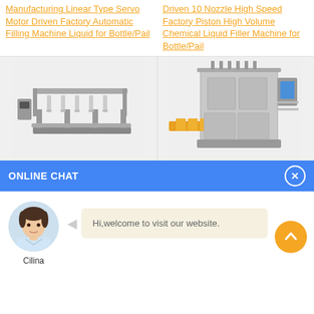Manufacturing Linear Type Servo Motor Driven Factory Automatic Filling Machine Liquid for Bottle/Pail
Driven 10 Nozzle High Speed Factory Piston High Volume Chemical Liquid Filler Machine for Bottle/Pail
[Figure (photo): Photo of a linear type servo motor driven automatic filling machine, stainless steel construction with multiple nozzle heads.]
[Figure (photo): Photo of a 10 nozzle high speed piston high volume chemical liquid filler machine with orange/yellow conveyor.]
ONLINE CHAT
[Figure (photo): Avatar photo of a female customer service representative named Cilina, wearing a white blouse.]
Cilina
Hi,welcome to visit our website.